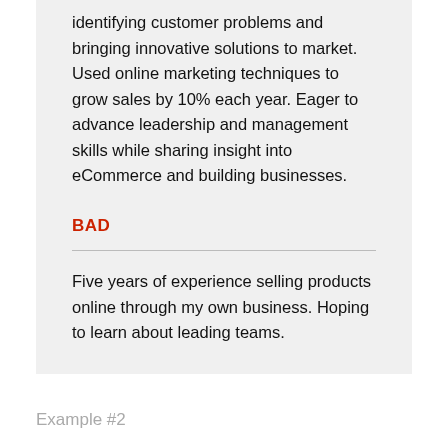identifying customer problems and bringing innovative solutions to market. Used online marketing techniques to grow sales by 10% each year. Eager to advance leadership and management skills while sharing insight into eCommerce and building businesses.
BAD
Five years of experience selling products online through my own business. Hoping to learn about leading teams.
Example #2